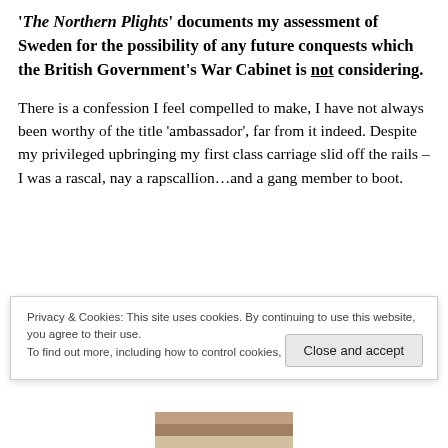'‘The Northern Plights’ documents my assessment of Sweden for the possibility of any future conquests which the British Government’s War Cabinet is not considering.
There is a confession I feel compelled to make, I have not always been worthy of the title ‘ambassador’, far from it indeed. Despite my privileged upbringing my first class carriage slid off the rails – I was a rascal, nay a rapscallion…and a gang member to boot.
[Figure (photo): Partial photo visible at top and bottom edges, cut off by cookie banner overlay.]
Privacy & Cookies: This site uses cookies. By continuing to use this website, you agree to their use.
To find out more, including how to control cookies, see here: Cookie Policy